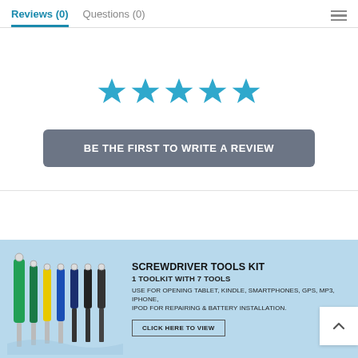Reviews (0)   Questions (0)
[Figure (illustration): Five blue star rating icons displayed in a row]
BE THE FIRST TO WRITE A REVIEW
[Figure (illustration): Advertisement banner for Screwdriver Tools Kit featuring colorful screwdrivers on a light blue background. Title: SCREWDRIVER TOOLS KIT. Subtitle: 1 TOOLKIT WITH 7 TOOLS. Description: USE FOR OPENING TABLET, KINDLE, SMARTPHONES, GPS, MP3, IPHONE, IPOD FOR REPAIRING & BATTERY INSTALLATION. Button: CLICK HERE TO VIEW]